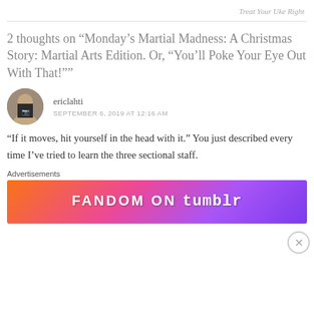Treat Your Uke Right
2 thoughts on “Monday’s Martial Madness: A Christmas Story: Martial Arts Edition. Or, “You’ll Poke Your Eye Out With That!””
ericlahti
SEPTEMBER 6, 2019 AT 12:16 AM
“If it moves, hit yourself in the head with it.” You just described every time I’ve tried to learn the three sectional staff.
Advertisements
[Figure (other): Fandom on Tumblr advertisement banner with colorful gradient background]